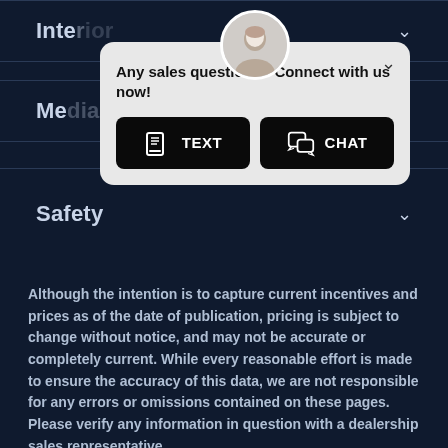[Figure (screenshot): Website screenshot showing accordion menu rows for Interior, Media, and Safety categories on a dark navy background, with a popup chat widget overlay containing TEXT and CHAT buttons]
Although the intention is to capture current incentives and prices as of the date of publication, pricing is subject to change without notice, and may not be accurate or completely current. While every reasonable effort is made to ensure the accuracy of this data, we are not responsible for any errors or omissions contained on these pages. Please verify any information in question with a dealership sales representative.